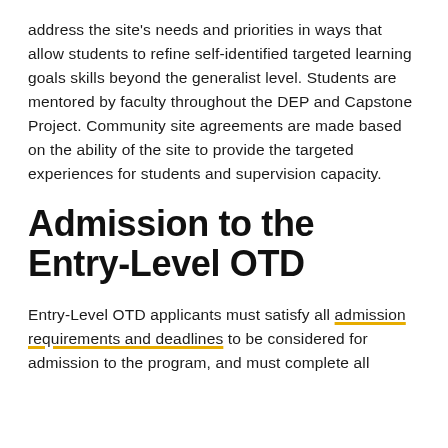address the site's needs and priorities in ways that allow students to refine self-identified targeted learning goals skills beyond the generalist level. Students are mentored by faculty throughout the DEP and Capstone Project. Community site agreements are made based on the ability of the site to provide the targeted experiences for students and supervision capacity.
Admission to the Entry-Level OTD
Entry-Level OTD applicants must satisfy all admission requirements and deadlines to be considered for admission to the program, and must complete all